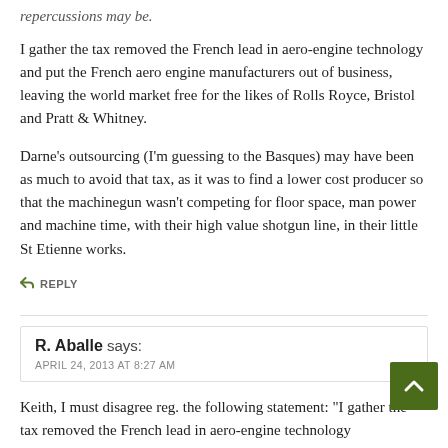repercussions may be.
I gather the tax removed the French lead in aero-engine technology and put the French aero engine manufacturers out of business, leaving the world market free for the likes of Rolls Royce, Bristol and Pratt & Whitney.
Darne's outsourcing (I'm guessing to the Basques) may have been as much to avoid that tax, as it was to find a lower cost producer so that the machinegun wasn't competing for floor space, man power and machine time, with their high value shotgun line, in their little St Etienne works.
↩ REPLY
R. Aballe says:
APRIL 24, 2013 AT 8:27 AM
Keith, I must disagree reg. the following statement: "I gather the tax removed the French lead in aero-engine technology